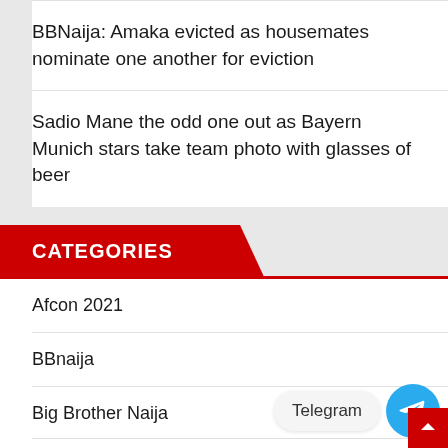BBNaija: Amaka evicted as housemates nominate one another for eviction
Sadio Mane the odd one out as Bayern Munich stars take team photo with glasses of beer
CATEGORIES
Afcon 2021
BBnaija
Big Brother Naija
Business